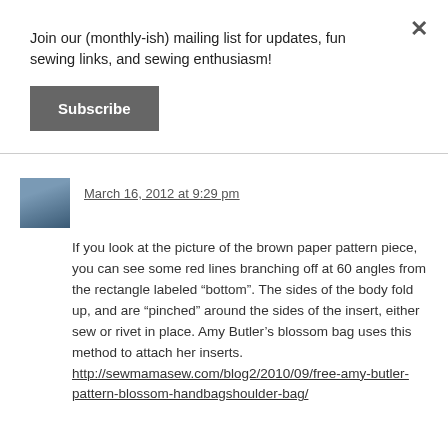Join our (monthly-ish) mailing list for updates, fun sewing links, and sewing enthusiasm!
Subscribe
March 16, 2012 at 9:29 pm
If you look at the picture of the brown paper pattern piece, you can see some red lines branching off at 60 angles from the rectangle labeled “bottom”. The sides of the body fold up, and are “pinched” around the sides of the insert, either sew or rivet in place. Amy Butler’s blossom bag uses this method to attach her inserts. http://sewmamasew.com/blog2/2010/09/free-amy-butler-pattern-blossom-handbagshoulder-bag/